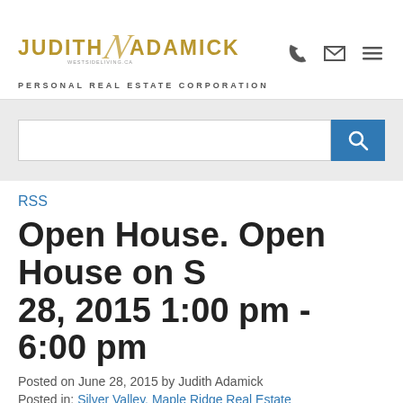[Figure (logo): Judith Adamick westsideliving.ca Personal Real Estate Corporation logo with decorative script and gold/brown coloring]
[Figure (screenshot): Navigation icons: phone, email, and hamburger menu]
[Figure (screenshot): Search bar with blue search button and magnifying glass icon]
RSS
Open House. Open House on S... 28, 2015 1:00 pm - 6:00 pm
Posted on June 28, 2015 by Judith Adamick
Posted in: Silver Valley, Maple Ridge Real Estate
[Figure (screenshot): Social share buttons: Twitter, Facebook, Pinterest]